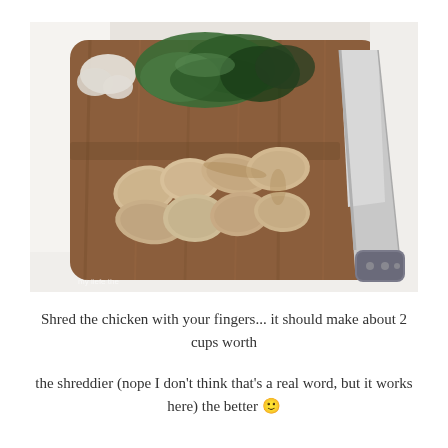[Figure (photo): A wooden cutting board with sliced cooked chicken pieces arranged in the center, chopped green and leafy vegetables in the upper left, and a large kitchen knife with a gray handle resting on the right side of the board.]
Shred the chicken with your fingers... it should make about 2 cups worth
the shreddier (nope I don't think that's a real word, but it works here) the better 🙂